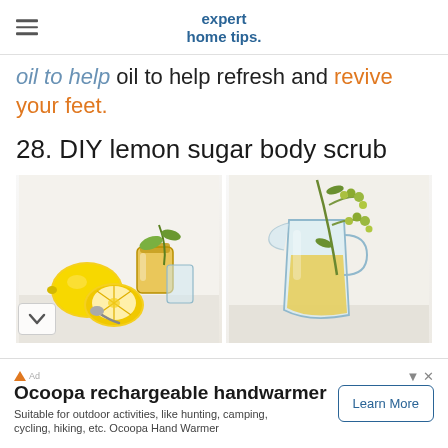expert home tips.
oil to help refresh and revive your feet.
28. DIY lemon sugar body scrub
[Figure (photo): Two side-by-side photos: left shows lemons cut open with glass jars and a spoon; right shows a glass pitcher filled with yellow liquid and a branch with green berries.]
Ocoopa rechargeable handwarmer
Suitable for outdoor activities, like hunting, camping, cycling, hiking, etc. Ocoopa Hand Warmer